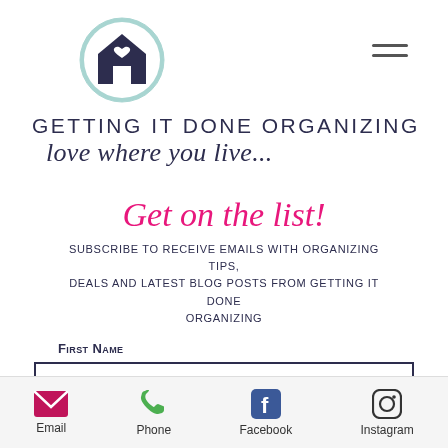[Figure (logo): Round teal-outlined circle logo with dark navy house icon containing a heart, representing Getting It Done Organizing brand logo]
GETTING IT DONE ORGANIZING
love where you live...
Get on the list!
Subscribe to receive emails with organizing tips, deals and latest blog posts from Getting it Done Organizing
First Name
Email  Phone  Facebook  Instagram